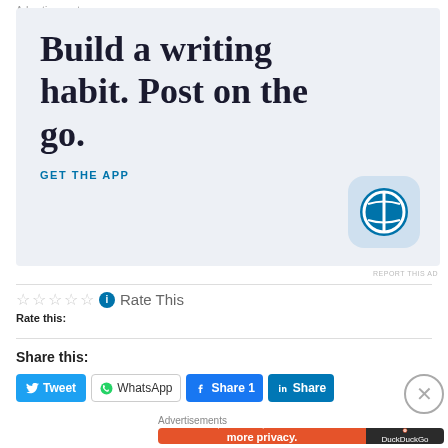Advertisements
[Figure (illustration): WordPress advertisement banner: 'Build a writing habit. Post on the go.' with 'GET THE APP' CTA and WordPress logo]
REPORT THIS AD
Rate this: ☆ ☆ ☆ ☆ ☆ ⓘ Rate This
Share this:
Tweet  WhatsApp  Share 1  Share
Advertisements
[Figure (illustration): DuckDuckGo advertisement: 'Search, browse, and email with more privacy. All in One Free App' with DuckDuckGo logo]